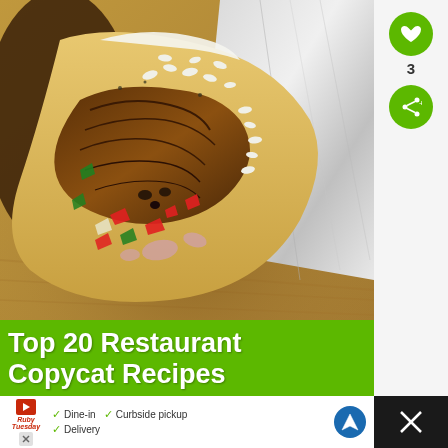[Figure (photo): Close-up photo of a burrito or wrap filled with shredded meat, rice, red and green peppers, onions, wrapped in foil, placed on a wooden board]
Top 20 Restaurant Copycat Recipes
[Figure (other): Heart/like button (green circle with heart icon) with count 3, and share button (green circle with share icon)]
[Figure (photo): WHAT'S NEXT arrow label with thumbnail image for Cheesy Bacon Hashbrown... recipe]
WHAT'S NEXT →
Cheesy Bacon Hashbrown...
[Figure (other): Advertisement banner for Ruby Tuesday showing Dine-in, Curbside pickup, and Delivery options with navigation icon and close button]